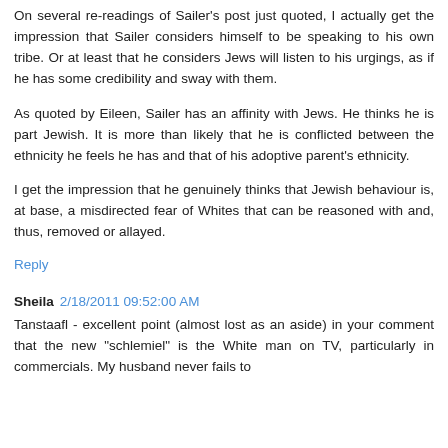On several re-readings of Sailer's post just quoted, I actually get the impression that Sailer considers himself to be speaking to his own tribe. Or at least that he considers Jews will listen to his urgings, as if he has some credibility and sway with them.
As quoted by Eileen, Sailer has an affinity with Jews. He thinks he is part Jewish. It is more than likely that he is conflicted between the ethnicity he feels he has and that of his adoptive parent's ethnicity.
I get the impression that he genuinely thinks that Jewish behaviour is, at base, a misdirected fear of Whites that can be reasoned with and, thus, removed or allayed.
Reply
Sheila 2/18/2011 09:52:00 AM
Tanstaafl - excellent point (almost lost as an aside) in your comment that the new "schlemiel" is the White man on TV, particularly in commercials. My husband never fails to